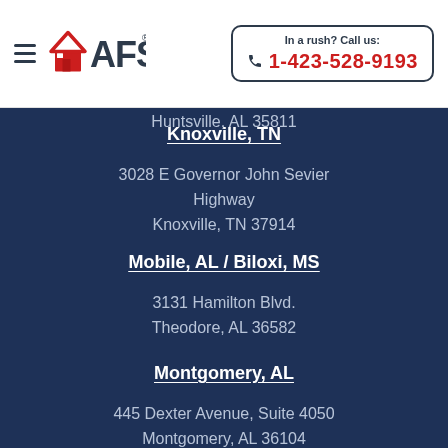AFS | In a rush? Call us: 1-423-528-9193
Huntsville, AL 35811
Knoxville, TN
3028 E Governor John Sevier Highway
Knoxville, TN 37914
Mobile, AL / Biloxi, MS
3131 Hamilton Blvd.
Theodore, AL 36582
Montgomery, AL
445 Dexter Avenue, Suite 4050
Montgomery, AL 36104